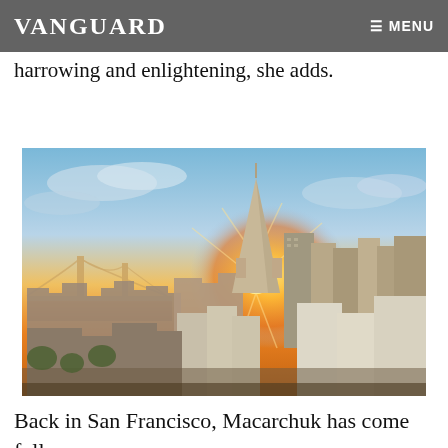VANGUARD  ≡ MENU
arrived in Hong Kong at the height of pro-democracy protests. It was an experience that was harrowing and enlightening, she adds.
[Figure (photo): Aerial cityscape photo of San Francisco skyline at golden hour/sunset, with the Transamerica Pyramid prominently visible, Bay Bridge in background, warm orange sky with sun rays.]
Back in San Francisco, Macarchuk has come full